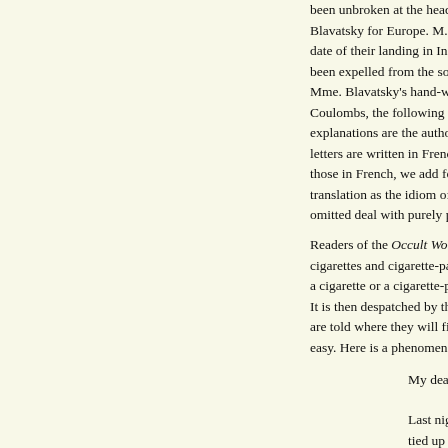been unbroken at the head-quarters of Theosophy... Blavatsky for Europe. M. and Mme. Coulomb, wh... date of their landing in India, living at head-quarte... been expelled from the society for infidelity to the... Mme. Blavatsky's hand-writing, left with strange... Coulombs, the following selections have been ma... explanations are the authorities on which the conc... letters are written in French, a few only in English... those in French, we add for the benefit of readers... translation as the idiom of the two languages will... omitted deal with purely private matters with whi...
Readers of the Occult World are familiar with phe... cigarettes and cigarette-papers play an important p... a cigarette or a cigarette-paper is peculiarly marke... It is then despatched by the agency of occult force... are told where they will find it. Telegraphic comm... easy. Here is a phenomenon of this kind, apparent...
My dear Mme. Coulomb,
Last night, Sunday, I wanted to show my fri... tied up with my hair to be placed opposite V... the Prince of Wales's statue) under the hor...